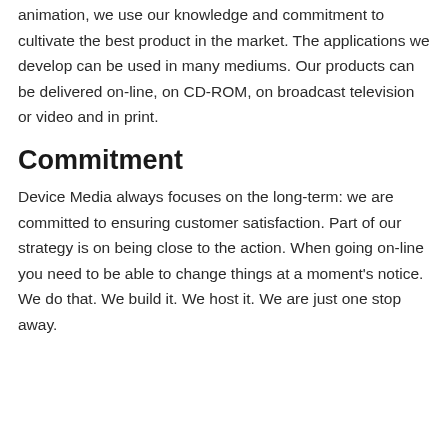animation, we use our knowledge and commitment to cultivate the best product in the market. The applications we develop can be used in many mediums. Our products can be delivered on-line, on CD-ROM, on broadcast television or video and in print.
Commitment
Device Media always focuses on the long-term: we are committed to ensuring customer satisfaction. Part of our strategy is on being close to the action. When going on-line you need to be able to change things at a moment's notice. We do that. We build it. We host it. We are just one stop away.